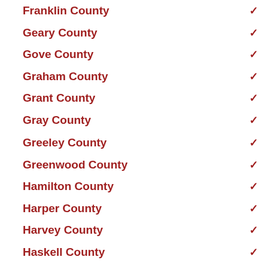Franklin County
Geary County
Gove County
Graham County
Grant County
Gray County
Greeley County
Greenwood County
Hamilton County
Harper County
Harvey County
Haskell County